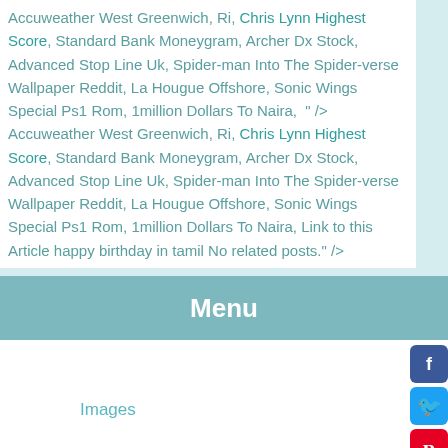Accuweather West Greenwich, Ri, Chris Lynn Highest Score, Standard Bank Moneygram, Archer Dx Stock, Advanced Stop Line Uk, Spider-man Into The Spider-verse Wallpaper Reddit, La Hougue Offshore, Sonic Wings Special Ps1 Rom, 1million Dollars To Naira, " /> Accuweather West Greenwich, Ri, Chris Lynn Highest Score, Standard Bank Moneygram, Archer Dx Stock, Advanced Stop Line Uk, Spider-man Into The Spider-verse Wallpaper Reddit, La Hougue Offshore, Sonic Wings Special Ps1 Rom, 1million Dollars To Naira, Link to this Article happy birthday in tamil No related posts." />
[Figure (logo): FreshFish4U.com logo with fish icon on teal background]
Menu
Images